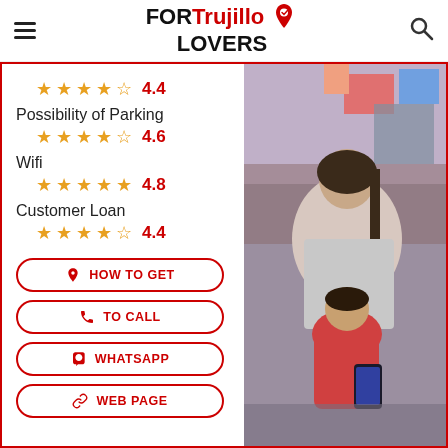FORTrujillo LOVERS
★★★★☆ 4.4
Possibility of Parking
★★★★☆ 4.6
Wifi
★★★★★ 4.8
Customer Loan
★★★★☆ 4.4
[Figure (photo): Woman and child in a store, child holding a phone]
HOW TO GET
TO CALL
WHATSAPP
WEB PAGE